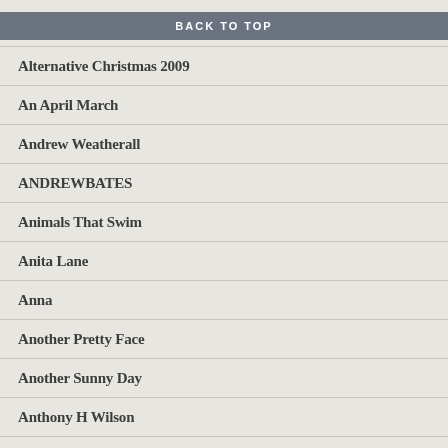BACK TO TOP
Alternative Christmas 2009
An April March
Andrew Weatherall
ANDREWBATES
Animals That Swim
Anita Lane
Anna
Another Pretty Face
Another Sunny Day
Anthony H Wilson
Antony & The Johnsons
APB
Aphex Twin